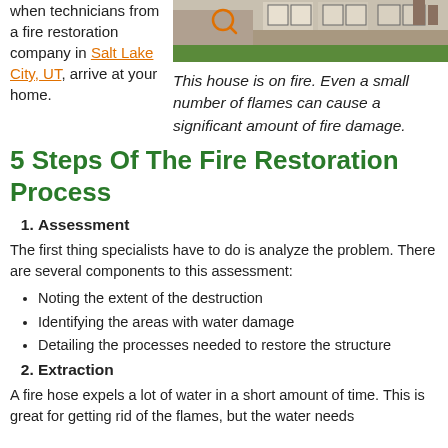when technicians from a fire restoration company in Salt Lake City, UT, arrive at your home.
[Figure (photo): Photo of a house on fire with smoke visible, exterior view]
This house is on fire. Even a small number of flames can cause a significant amount of fire damage.
5 Steps Of The Fire Restoration Process
1. Assessment
The first thing specialists have to do is analyze the problem. There are several components to this assessment:
Noting the extent of the destruction
Identifying the areas with water damage
Detailing the processes needed to restore the structure
2. Extraction
A fire hose expels a lot of water in a short amount of time. This is great for getting rid of the flames, but the water needs